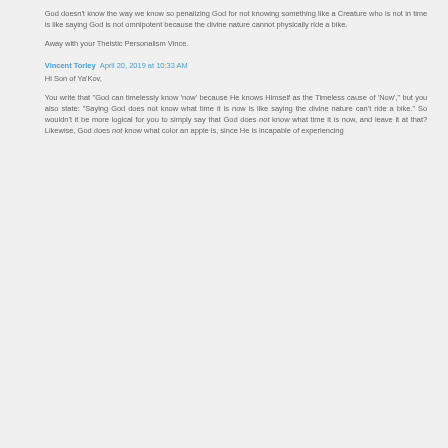God doesn't know the way we know so penalizing God for not knowing something like a Creature who is not in time is like saying God is not omnipotent because the divine nature cannot physically ride a bike.
Away with your Theistic Personalism Vince.
Vincent Torley  April 20, 2019 at 10:33 AM
Hi Son of Ya'Kov,
You write that "God can timelessly know 'now' because He knows Himself as the Timeless cause of 'Now,'" but you also state: "Saying God does not know what time it is now is like saying the divine nature can't ride a bike." So wouldn't it be more logical for you to simply say that God does not know what time it is now, and leave it at that? Likewise, God does not know what color an apple is, since He is incapable of experiencing